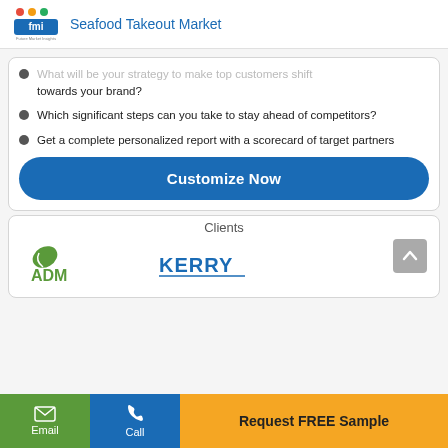Seafood Takeout Market
What will be your strategy to make top customers shift towards your brand?
Which significant steps can you take to stay ahead of competitors?
Get a complete personalized report with a scorecard of target partners
Customize Now
Clients
[Figure (logo): ADM and Kerry client logos]
Email | Call | Request FREE Sample